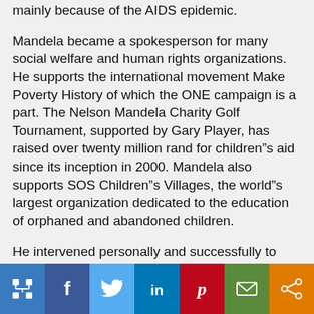mainly because of the AIDS epidemic.
Mandela became a spokesperson for many social welfare and human rights organizations. He supports the international movement Make Poverty History of which the ONE campaign is a part. The Nelson Mandela Charity Golf Tournament, supported by Gary Player, has raised over twenty million rand for children’s aid since its inception in 2000. Mandela also supports SOS Children’s Villages, the world’s largest organization dedicated to the education of orphaned and abandoned children.
He intervened personally and successfully to
[Figure (other): Social media sharing bar with icons for sitemap/home, Facebook, Twitter, LinkedIn, Pinterest, Email, and Share]